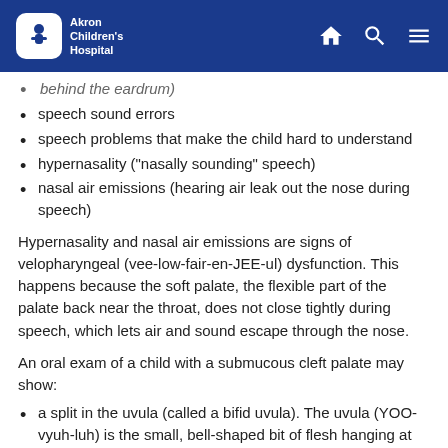Akron Children's Hospital
behind the eardrum)
speech sound errors
speech problems that make the child hard to understand
hypernasality ("nasally sounding" speech)
nasal air emissions (hearing air leak out the nose during speech)
Hypernasality and nasal air emissions are signs of velopharyngeal (vee-low-fair-en-JEE-ul) dysfunction. This happens because the soft palate, the flexible part of the palate back near the throat, does not close tightly during speech, which lets air and sound escape through the nose.
An oral exam of a child with a submucous cleft palate may show:
a split in the uvula (called a bifid uvula). The uvula (YOO-vyuh-luh) is the small, bell-shaped bit of flesh hanging at the back of the throat, in the middle of the